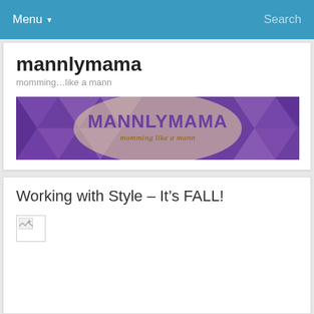Menu  Search
mannlymama
momming…like a mann
[Figure (illustration): MANNLYMAMA blog banner with purple geometric diamond pattern background and text 'MANNLYMAMA momming like a mann' in purple and yellow script]
Working with Style – It's FALL!
[Figure (photo): Broken/unloaded image placeholder with small icon in top-left corner]